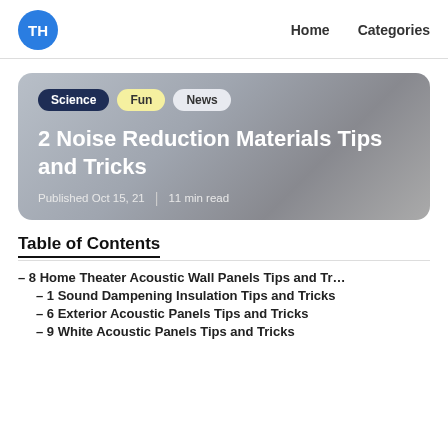TH  Home  Categories
[Figure (other): Hero card with gradient background showing category tags (Science, Fun, News), article title '2 Noise Reduction Materials Tips and Tricks', publication date 'Published Oct 15, 21' and '11 min read']
2 Noise Reduction Materials Tips and Tricks
Published Oct 15, 21 | 11 min read
Table of Contents
– 8 Home Theater Acoustic Wall Panels Tips and Tr...
– 1 Sound Dampening Insulation Tips and Tricks
– 6 Exterior Acoustic Panels Tips and Tricks
– 9 White Acoustic Panels Tips and Tricks